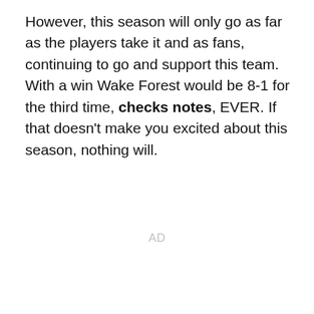However, this season will only go as far as the players take it and as fans, continuing to go and support this team. With a win Wake Forest would be 8-1 for the third time, checks notes, EVER. If that doesn't make you excited about this season, nothing will.
AD